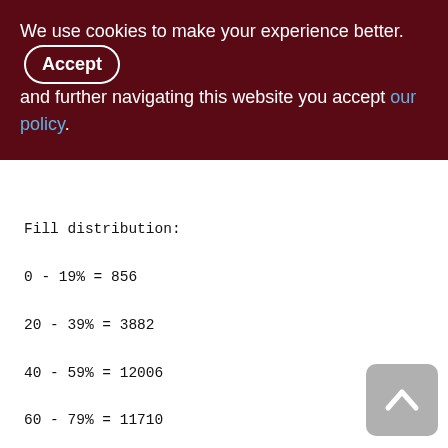We use cookies to make your experience better. By accepting and further navigating this website you accept our policy.
Fill distribution:
0 - 19% = 856
20 - 39% = 3882
40 - 59% = 12006
60 - 79% = 11710
80 - 99% = 1594
Index XQD_2000_3300_WARE_SOP_ROP_SND (0)
Root page: 108370, depth: 3, leaf buckets: 2397, nodes: 1493806
Average node length: 5.63, total dup. 1402613, max dup: 63
Average key length: 2.67, compression